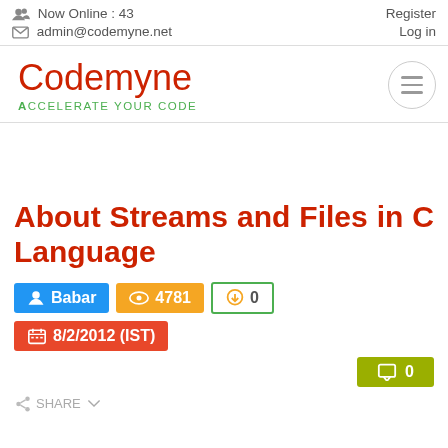Now Online : 43  admin@codemyne.net  Register  Log in
Codemyne
Accelerate your code
About Streams and Files in C Language
Babar  4781  0  8/2/2012 (IST)  0